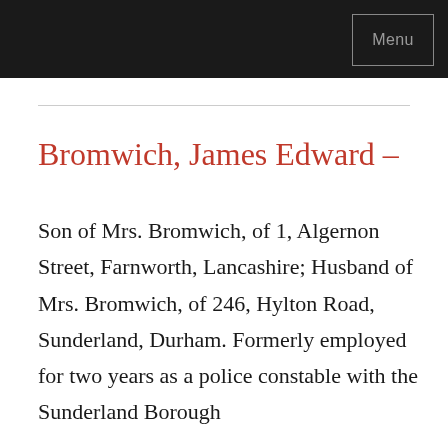Menu
Bromwich, James Edward –
Son of Mrs. Bromwich, of 1, Algernon Street, Farnworth, Lancashire; Husband of Mrs. Bromwich, of 246, Hylton Road, Sunderland, Durham. Formerly employed for two years as a police constable with the Sunderland Borough